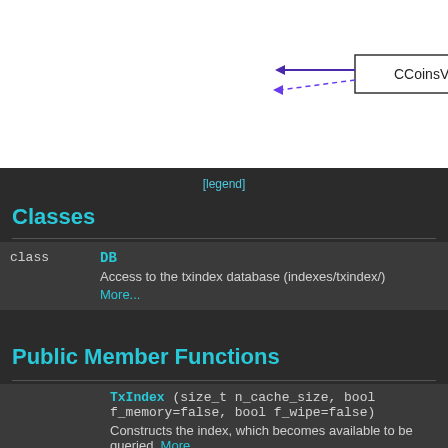[Figure (engineering-diagram): UML class diagram showing CCoinsView class box with inheritance arrows (solid and dashed purple arrows pointing left into CCoinsView)]
[legend]
Classes
|  |  |
| --- | --- |
| class | DB
Access to the txindex database (indexes/txindex/)
More... |
Public Member Functions
|  |  |
| --- | --- |
|  | TxIndex (size_t n_cache_size, bool f_memory=false, bool f_wipe=false)
Constructs the index, which becomes available to be queried. More... |
| virtual | ~TxIndex () override |